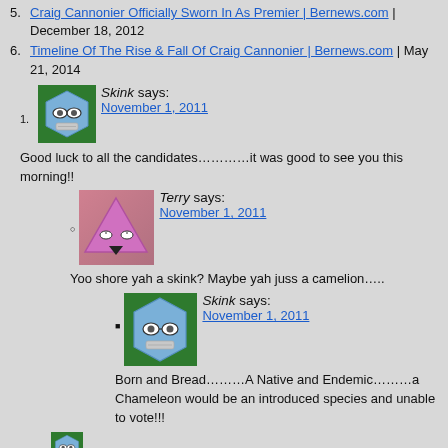5. Craig Cannonier Officially Sworn In As Premier | Bernews.com | December 18, 2012
6. Timeline Of The Rise & Fall Of Craig Cannonier | Bernews.com | May 21, 2014
[Figure (illustration): Blue hexagon avatar with glasses and tape over mouth on green background]
Skink says:
November 1, 2011
Good luck to all the candidates…………it was good to see you this morning!!
[Figure (illustration): Pink/mauve triangle avatar with eyes and chin on gradient background]
Terry says:
November 1, 2011
Yoo shore yah a skink? Maybe yah juss a camelion…...
[Figure (illustration): Blue hexagon avatar with glasses and tape over mouth on green background]
Skink says:
November 1, 2011
Born and Bread………A Native and Endemic………a Chameleon would be an introduced species and unable to vote!!!
[Figure (illustration): Blue hexagon avatar with glasses and tape over mouth on green background (partial)]